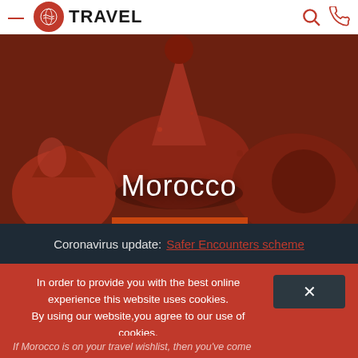TRAVEL
[Figure (photo): Moroccan ceramic pottery and tagine dishes in rich red and earth tones with colorful striped patterns]
Morocco
Coronavirus update: Safer Encounters scheme
In order to provide you with the best online experience this website uses cookies. By using our website,you agree to our use of cookies. LEARN MORE